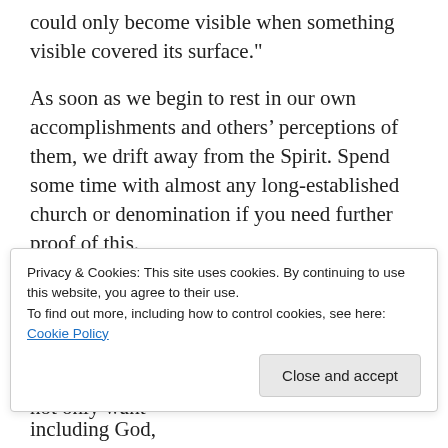could only become visible when something visible covered its surface."
As soon as we begin to rest in our own accomplishments and others’ perceptions of them, we drift away from the Spirit. Spend some time with almost any long-established church or denomination if you need further proof of this.
[Figure (infographic): Advertisement for P2 workspace tool. Shows P2 logo icon and text: 'Getting your team on the same page is easy. And free.']
We try to play this game with God, too. We not only want
Privacy & Cookies: This site uses cookies. By continuing to use this website, you agree to their use.
To find out more, including how to control cookies, see here: Cookie Policy
doing good—and making very sure others, including God,